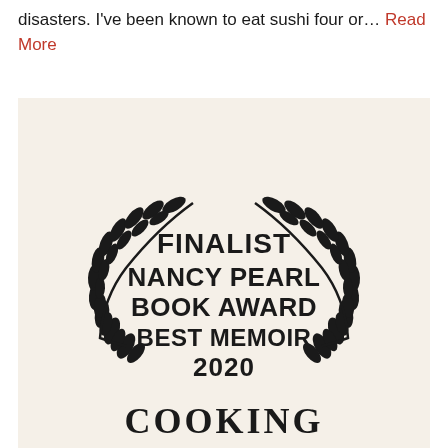disasters. I've been known to eat sushi four or… Read More
[Figure (logo): Award badge with laurel wreath reading: FINALIST NANCY PEARL BOOK AWARD BEST MEMOIR 2020, with COOKING text below on cream background]